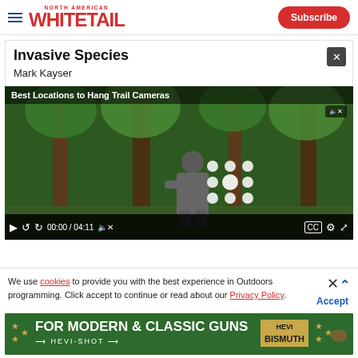North American Whitetail — Subscribe
Invasive Species
Mark Kayser
[Figure (screenshot): Video player showing 'Best Locations to Hang Trail Cameras' with a man in camouflage outdoors, loading spinner, and video controls showing 00:00 / 04:11]
We use cookies to provide you with the best experience in Outdoors programming. Click accept to continue or read about our Privacy Policy.
Advertisement
[Figure (illustration): Hevi-Shot advertisement banner: FOR MODERN & CLASSIC GUNS HEVI-BISMUTH]